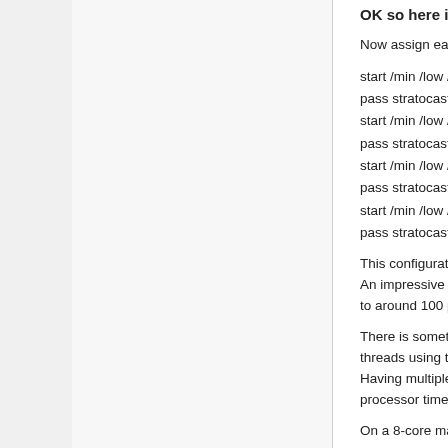OK so here is the second clever bit
Now assign each minerd process to a fixed subset of three cores on a four-core machine thus:-
start /min /low /affinity 0x7 minerd --url http://127.0.0.1:823...
pass stratocaster --threads 1
start /min /low /affinity 0xb minerd --url http://127.0.0.1:823...
pass stratocaster --threads 1
start /min /low /affinity 0xd minerd --url http://127.0.0.1:823...
pass stratocaster --threads 1
start /min /low /affinity 0xe minerd --url http://127.0.0.1:823...
pass stratocaster --threads 1
This configuration generates approx 41 Kh/s or 10.25 Kh/s... An impressive 95 percent improvement on wallet mining. ... to around 100 percent.
There is something here in the way a single minerd process... threads using this M7M algo.
Having multiple minerd processes running a single thread... processor time more efficiently.
On a 8-core machine you would need this batch file:-
start /min /low /affinity 0x7 minerd --url http://127.0.0.1:823...
pass stratocaster --threads 1
start /min /low /affinity 0xb minerd --url http://127.0.0.1:823...
pass stratocaster --threads 1
start /min /low /affinity 0xd minerd --url http://127.0.0.1:823...